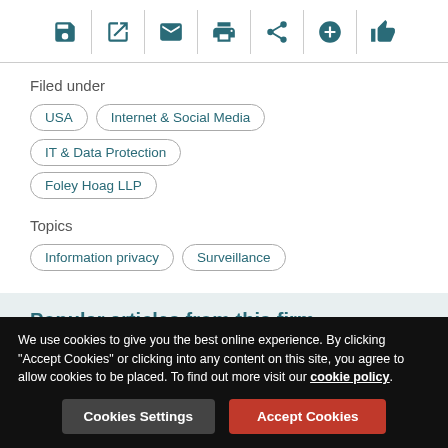[Figure (other): Toolbar with icons: save, external link, email, print, share, add, like]
Filed under
USA
Internet & Social Media
IT & Data Protection
Foley Hoag LLP
Topics
Information privacy
Surveillance
Popular articles from this firm
We use cookies to give you the best online experience. By clicking "Accept Cookies" or clicking into any content on this site, you agree to allow cookies to be placed. To find out more visit our cookie policy.